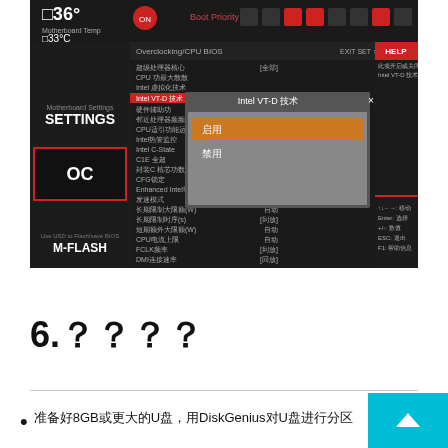[Figure (screenshot): MSI BIOS UEFI settings screenshot showing Overclocking/CPU BIOS menu with Intel VT-D technology popup dialog. The interface has a dark red/black theme with Chinese text labels. Left sidebar shows SETTINGS and OC navigation. Right panel shows HELP section. The popup shows Intel VT-D 技术 selection menu with options 启用 and 禁用.]
6.？？？？
准备好8GB或更大的U盘，用DiskGenius对U盘进行分区